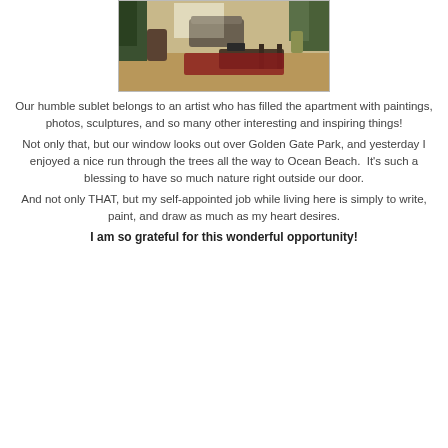[Figure (photo): Interior photo of an artist's living room/apartment with hardwood floors, plants, furniture, and a red rug]
Our humble sublet belongs to an artist who has filled the apartment with paintings, photos, sculptures, and so many other interesting and inspiring things!
Not only that, but our window looks out over Golden Gate Park, and yesterday I enjoyed a nice run through the trees all the way to Ocean Beach.  It's such a blessing to have so much nature right outside our door.
And not only THAT, but my self-appointed job while living here is simply to write, paint, and draw as much as my heart desires.
I am so grateful for this wonderful opportunity!